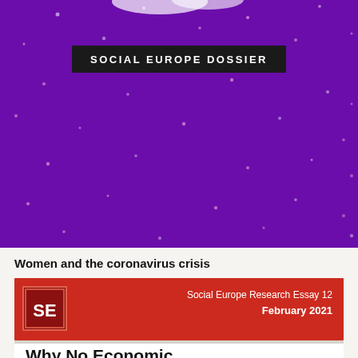[Figure (illustration): Purple background with scattered white/pink dots resembling a night sky, with a dark banner reading SOCIAL EUROPE DOSSIER]
Women and the coronavirus crisis
[Figure (logo): SE logo box in dark red with white SE text]
Social Europe Research Essay 12
February 2021
Why No Economic